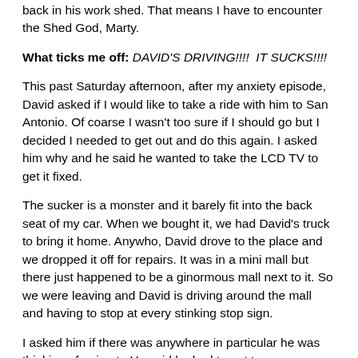back in his work shed. That means I have to encounter the Shed God, Marty.
What ticks me off: DAVID'S DRIVING!!!!  IT SUCKS!!!!
This past Saturday afternoon, after my anxiety episode, David asked if I would like to take a ride with him to San Antonio. Of coarse I wasn't too sure if I should go but I decided I needed to get out and do this again. I asked him why and he said he wanted to take the LCD TV to get it fixed.
The sucker is a monster and it barely fit into the back seat of my car. When we bought it, we had David's truck to bring it home. Anywho, David drove to the place and we dropped it off for repairs. It was in a mini mall but there just happened to be a ginormous mall next to it. So we were leaving and David is driving around the mall and having to stop at every stinking stop sign.
I asked him if there was anywhere in particular he was thinking of going to.He said he had to get to an access road